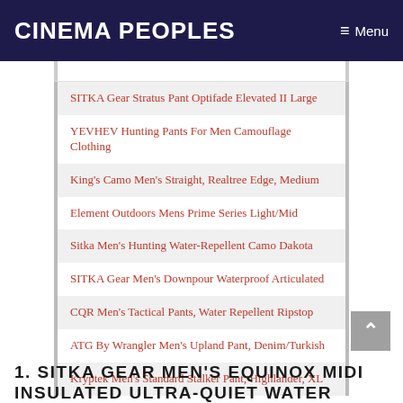Cinema Peoples  ≡ Menu
SITKA Gear Stratus Pant Optifade Elevated II Large
YEVHEV Hunting Pants For Men Camouflage Clothing
King's Camo Men's Straight, Realtree Edge, Medium
Element Outdoors Mens Prime Series Light/Mid
Sitka Men's Hunting Water-Repellent Camo Dakota
SITKA Gear Men's Downpour Waterproof Articulated
CQR Men's Tactical Pants, Water Repellent Ripstop
ATG By Wrangler Men's Upland Pant, Denim/Turkish
Kryptek Men's Standard Stalker Pant, Highlander, XL
1. SITKA GEAR MEN'S EQUINOX MIDI INSULATED ULTRA-QUIET WATER